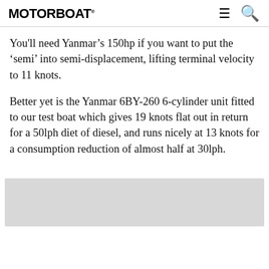MOTOR BOAT
You'll need Yanmar's 150hp if you want to put the 'semi' into semi-displacement, lifting terminal velocity to 11 knots.
Better yet is the Yanmar 6BY-260 6-cylinder unit fitted to our test boat which gives 19 knots flat out in return for a 50lph diet of diesel, and runs nicely at 13 knots for a consumption reduction of almost half at 30lph.
[Figure (other): Grey placeholder advertisement or image box at the bottom of the page]